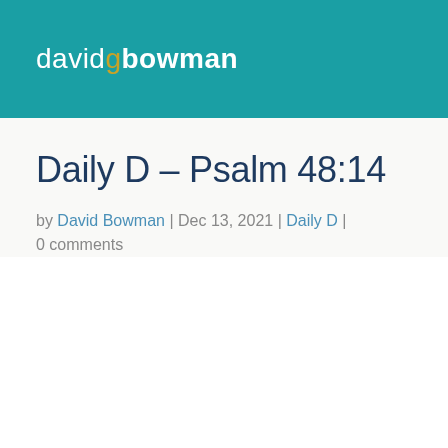davidgbowman
Daily D – Psalm 48:14
by David Bowman | Dec 13, 2021 | Daily D | 0 comments